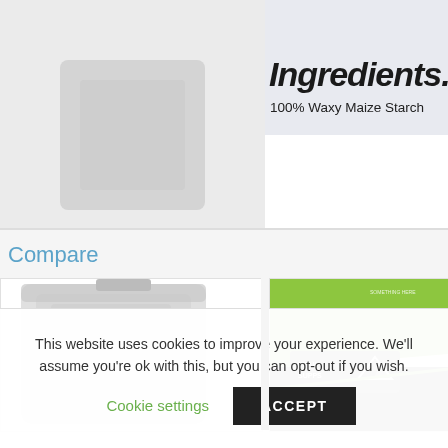[Figure (photo): Gray product bag on light gray background — left top section]
Ingredients.
100% Waxy Maize Starch
Compare
[Figure (photo): Silver/gray supplement pouch bag on white background]
[Figure (photo): Green and black Peak Supps supplement bag on white background]
This website uses cookies to improve your experience. We'll assume you're ok with this, but you can opt-out if you wish.
Cookie settings
ACCEPT